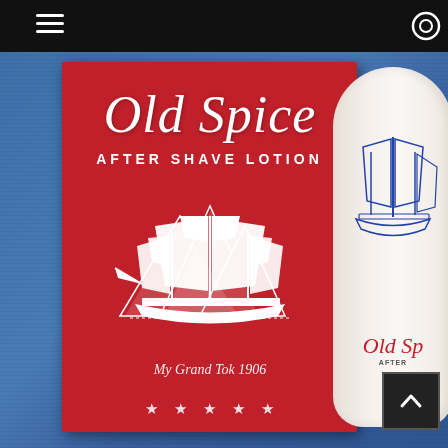[Figure (photo): A vintage Old Spice After Shave Lotion red box packaging displayed upright, featuring the classic sailing ship logo and script text 'Old Spice' in white italic lettering, 'AFTER SHAVE LOTION' in white block capitals, a ship illustration, decorative script 'My Grand Tok 1906' (or similar), and five white stars at the bottom. To the right is a white ceramic/glass Old Spice bottle with a blue ship illustration. Background is blue denim fabric. A dark top navigation bar with hamburger menu icon and a scroll-to-top button overlay are visible.]